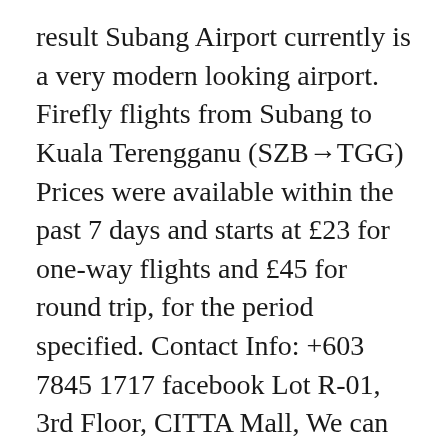result Subang Airport currently is a very modern looking airport. Firefly flights from Subang to Kuala Terengganu (SZB→TGG) Prices were available within the past 7 days and starts at £23 for one-way flights and £45 for round trip, for the period specified. Contact Info: +603 7845 1717 facebook Lot R-01, 3rd Floor, CITTA Mall, We can get you to or from your hotel up to 40 passengers and luagage. through Traveloka.  21300 Kuala Terengganu Firefly to operate from the Sultan Abdul Aziz Shah Airport in Subang, but only be permitted to fly new domestic routes. Email: phuket@fireflyz.com.my, International Departure Hall No difference as we were all packed onto a single bus. Call Centre: +603